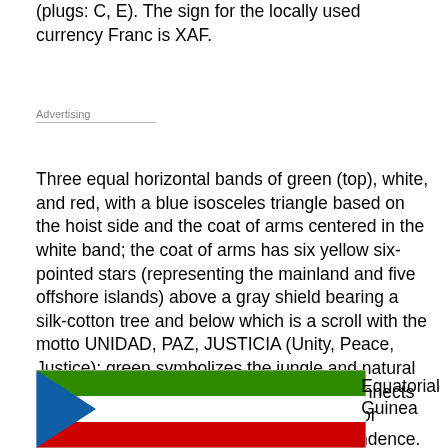(plugs: C, E). The sign for the locally used currency Franc is XAF.
Advertising
Three equal horizontal bands of green (top), white, and red, with a blue isosceles triangle based on the hoist side and the coat of arms centered in the white band; the coat of arms has six yellow six-pointed stars (representing the mainland and five offshore islands) above a gray shield bearing a silk-cotton tree and below which is a scroll with the motto UNIDAD, PAZ, JUSTICIA (Unity, Peace, Justice); green symbolizes the jungle and natural resources, blue represents the sea that connects the mainland to the islands, white stands for peace, and red recalls the fight for independence.
[Figure (illustration): Flag of Equatorial Guinea showing green, white, and red horizontal bands with a blue triangle on the hoist side]
Equatorial Guinea